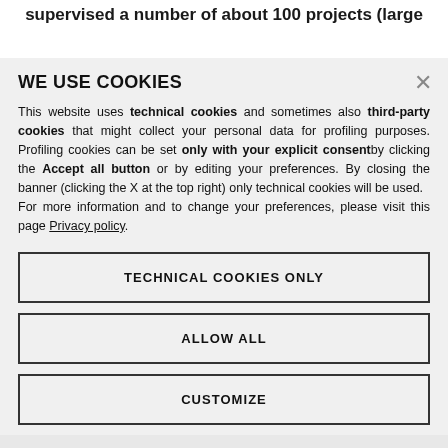supervised a number of about 100 projects (large
WE USE COOKIES
This website uses technical cookies and sometimes also third-party cookies that might collect your personal data for profiling purposes. Profiling cookies can be set only with your explicit consent by clicking the Accept all button or by editing your preferences. By closing the banner (clicking the X at the top right) only technical cookies will be used.
For more information and to change your preferences, please visit this page Privacy policy.
TECHNICAL COOKIES ONLY
ALLOW ALL
CUSTOMIZE